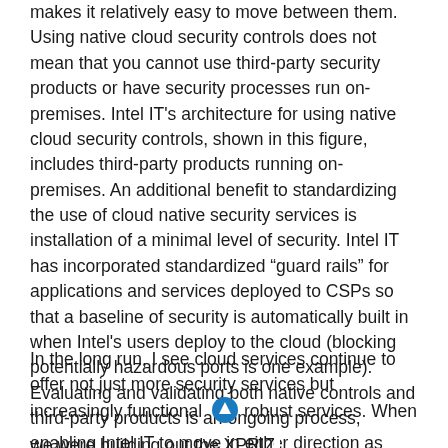makes it relatively easy to move between them. Using native cloud security controls does not mean that you cannot use third-party security products or have security processes run on-premises. Intel IT's architecture for using native cloud security controls, shown in this figure, includes third-party products running on-premises. An additional benefit to standardizing the use of cloud native security services is installation of a minimal level of security. Intel IT has incorporated standardized “guard rails” for applications and services deployed to CSPs so that a baseline of security is automatically built in when Intel's users deploy to the cloud (blocking potentially hazardous ports is one example). Evaluating and validating both native controls and third-party products is an ongoing process, enabling Intel IT to move in either direction as warranted.
In the long run, I see cloud services continue to offer not just more security services but increasingly functional robust services. When we were building out the XPRIZE...